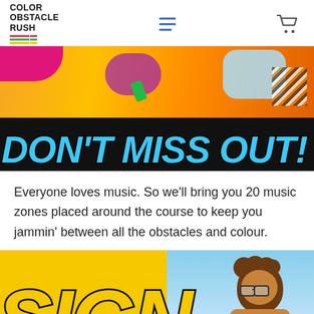Color Obstacle Rush
[Figure (photo): Action photo of colorful runners/participants at Color Obstacle Rush event on an orange/yellow background, with bold comic-style text 'DON'T MISS OUT!' in blue with black outline at the bottom]
Everyone loves music. So we'll bring you 20 music zones placed around the course to keep you jammin' between all the obstacles and colour.
[Figure (photo): Yellow banner with large bold comic-style text 'SIGN' in yellow with black outline, and a person with curly hair and glasses visible on the right side against a blue sky background]